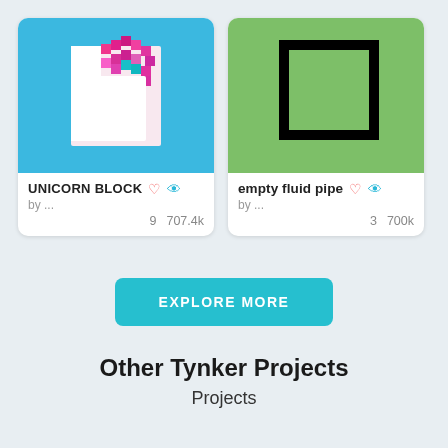[Figure (illustration): Pixel art unicorn on blue background]
UNICORN BLOCK
by ...
9  707.4k
[Figure (illustration): Green square with black border outline on green background (empty fluid pipe)]
empty fluid pipe
by ...
3  700k
EXPLORE MORE
Other Tynker Projects
Projects